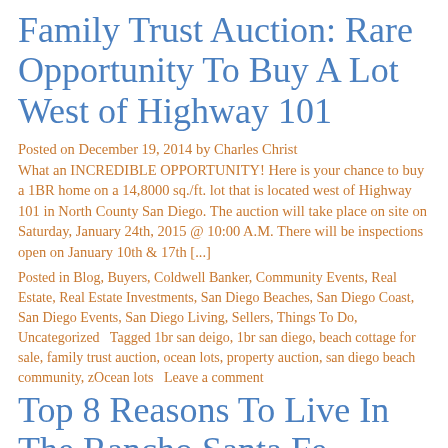Family Trust Auction: Rare Opportunity To Buy A Lot West of Highway 101
Posted on December 19, 2014 by Charles Christ What an INCREDIBLE OPPORTUNITY! Here is your chance to buy a 1BR home on a 14,8000 sq./ft. lot that is located west of Highway 101 in North County San Diego. The auction will take place on site on Saturday, January 24th, 2015 @ 10:00 A.M. There will be inspections open on January 10th & 17th [...]
Posted in Blog, Buyers, Coldwell Banker, Community Events, Real Estate, Real Estate Investments, San Diego Beaches, San Diego Coast, San Diego Events, San Diego Living, Sellers, Things To Do, Uncategorized  Tagged 1br san deigo, 1br san diego, beach cottage for sale, family trust auction, ocean lots, property auction, san diego beach community, zOcean lots  Leave a comment
Top 8 Reasons To Live In The Rancho Santa Fe...